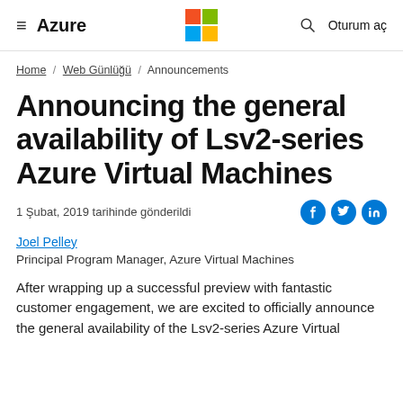≡ Azure | Microsoft Logo | 🔍 Oturum aç
Home / Web Günlüğü / Announcements
Announcing the general availability of Lsv2-series Azure Virtual Machines
1 Şubat, 2019 tarihinde gönderildi
Joel Pelley
Principal Program Manager, Azure Virtual Machines
After wrapping up a successful preview with fantastic customer engagement, we are excited to officially announce the general availability of the Lsv2-series Azure Virtual